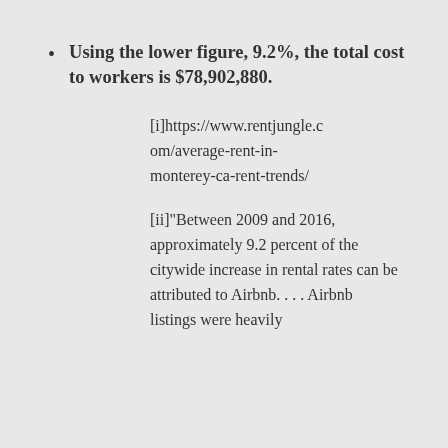Using the lower figure, 9.2%, the total cost to workers is $78,902,880.
[i]https://www.rentjungle.com/average-rent-in-monterey-ca-rent-trends/
[ii]“Between 2009 and 2016, approximately 9.2 percent of the citywide increase in rental rates can be attributed to Airbnb.... Airbnb listings were heavily